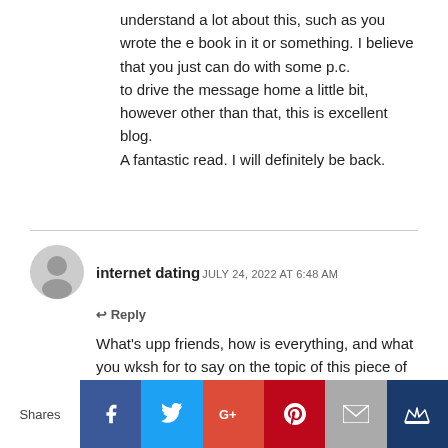understand a lot about this, such as you wrote the e book in it or something. I believe that you just can do with some p.c.
to drive the message home a little bit, however other than that, this is excellent blog.
A fantastic read. I will definitely be back.
internet dating JULY 24, 2022 AT 6:48 AM
Reply
What's upp friends, how is everything, and what you wksh for to say on the topic of this piece of writing, in my view its really amazing in favor of me.
Shares